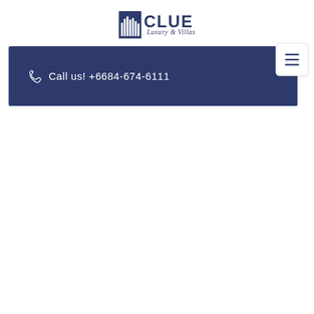[Figure (logo): CLUE Luxury & Villas logo: dark navy blue building/cityscape icon on left, bold 'CLUE' text with italic script 'Luxury & Villas' below on right]
Call us! +6684-674-6111
[Figure (other): Hamburger menu button (three horizontal lines) in a white rounded square]